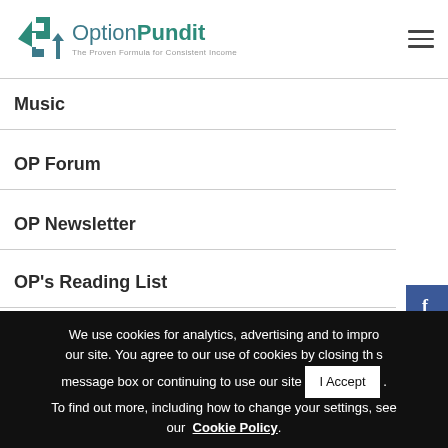[Figure (logo): OptionPundit logo with teal arrow icon and text 'The Proven Formula for Consistent Income']
Music
OP Forum
OP Newsletter
OP's Reading List
[Figure (other): Social media icons: Facebook, YouTube, Twitter, Instagram on the right side]
We use cookies for analytics, advertising and to improve our site. You agree to our use of cookies by closing this message box or continuing to use our site. To find out more, including how to change your settings, see our Cookie Policy.